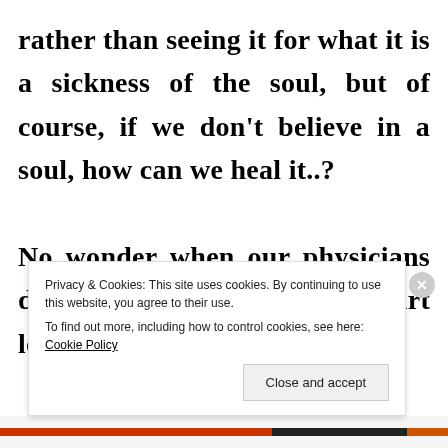rather than seeing it for what it is a sickness of the soul, but of course, if we don't believe in a soul, how can we heal it..? No wonder when our physicians declare you incurable, you start looking for other
Privacy & Cookies: This site uses cookies. By continuing to use this website, you agree to their use.
To find out more, including how to control cookies, see here: Cookie Policy
Close and accept